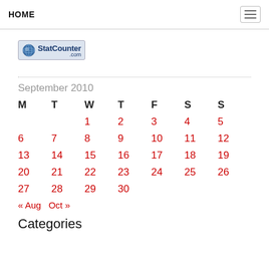HOME
[Figure (logo): StatCounter.com logo with globe icon]
| M | T | W | T | F | S | S |
| --- | --- | --- | --- | --- | --- | --- |
|  |  | 1 | 2 | 3 | 4 | 5 |
| 6 | 7 | 8 | 9 | 10 | 11 | 12 |
| 13 | 14 | 15 | 16 | 17 | 18 | 19 |
| 20 | 21 | 22 | 23 | 24 | 25 | 26 |
| 27 | 28 | 29 | 30 |  |  |  |
« Aug   Oct »
Categories